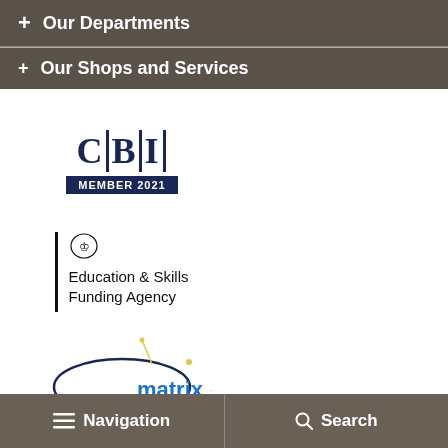+ Our Departments
+ Our Shops and Services
[Figure (logo): CBI Member 2021 logo]
[Figure (logo): Education & Skills Funding Agency logo]
[Figure (logo): matrix logo]
[Figure (logo): Investors in People Gold logo]
[Figure (logo): Disability Confident logo (partial)]
[Figure (logo): Training logo (partial)]
Navigation  Search